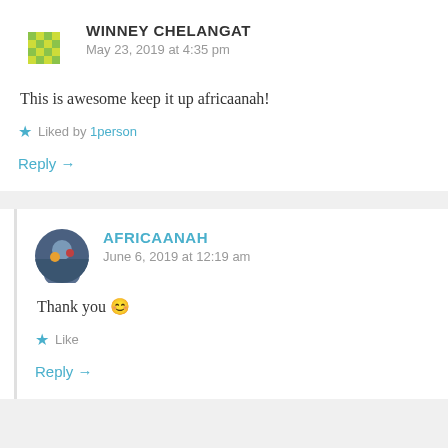WINNEY CHELANGAT
May 23, 2019 at 4:35 pm
This is awesome keep it up africaanah!
★ Liked by 1person
Reply →
AFRICAANAH
June 6, 2019 at 12:19 am
Thank you 😊
★ Like
Reply →